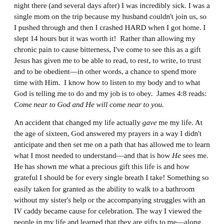night there (and several days after) I was incredibly sick. I was a single mom on the trip because my husband couldn't join us, so I pushed through and then I crashed HARD when I got home. I slept 14 hours but it was worth it! Rather than allowing my chronic pain to cause bitterness, I've come to see this as a gift Jesus has given me to be able to read, to rest, to write, to trust and to be obedient—in other words, a chance to spend more time with Him. I know how to listen to my body and to what God is telling me to do and my job is to obey. James 4:8 reads: Come near to God and He will come near to you.
An accident that changed my life actually gave me my life. At the age of sixteen, God answered my prayers in a way I didn't anticipate and then set me on a path that has allowed me to learn what I most needed to understand—and that is how He sees me. He has shown me what a precious gift this life is and how grateful I should be for every single breath I take! Something so easily taken for granted as the ability to walk to a bathroom without my sister's help or the accompanying struggles with an IV caddy became cause for celebration. The way I viewed the people in my life and learned that they are gifts to me—along with so many other lessons that have come by way of what seemed such an unfortunate event,